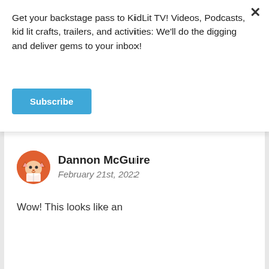Get your backstage pass to KidLit TV! Videos, Podcasts, kid lit crafts, trailers, and activities: We'll do the digging and deliver gems to your inbox!
Subscribe
Looking forward to this info.
Reply
Dannon McGuire
February 21st, 2022
Wow! This looks like an